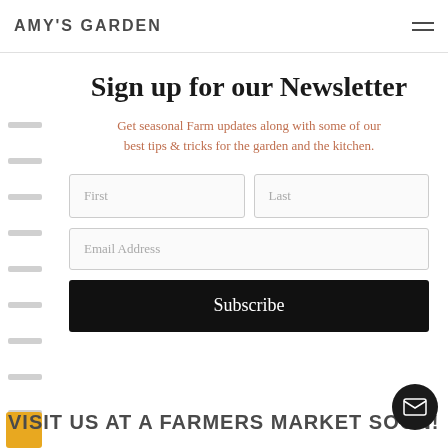AMY'S GARDEN
Sign up for our Newsletter
Get seasonal Farm updates along with some of our best tips & tricks for the garden and the kitchen.
First | Last | Email Address | Subscribe
VISIT US AT A FARMERS MARKET SOON!